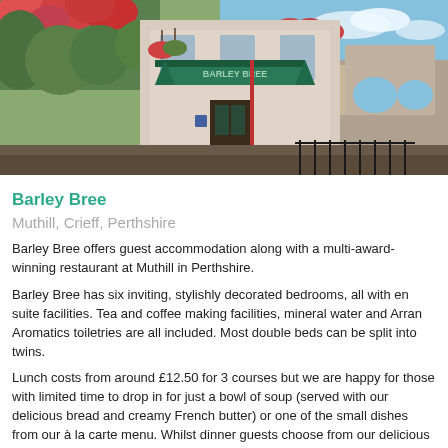[Figure (photo): Exterior photo of Barley Bree restaurant/hotel showing green awning over entrance, hanging flower baskets, stone building, and arched viaduct in background under blue sky]
Barley Bree
Muthill, Crieff, Perthshire
Barley Bree offers guest accommodation along with a multi-award-winning restaurant at Muthill in Perthshire.
Barley Bree has six inviting, stylishly decorated bedrooms, all with en suite facilities. Tea and coffee making facilities, mineral water and Arran Aromatics toiletries are all included. Most double beds can be split into twins.
Lunch costs from around £12.50 for 3 courses but we are happy for those with limited time to drop in for just a bowl of soup (served with our delicious bread and creamy French butter) or one of the small dishes from our à la carte menu. Whilst dinner guests choose from our delicious à la carte menu, Fabrice is also able to offer a 5-course tasting menu when